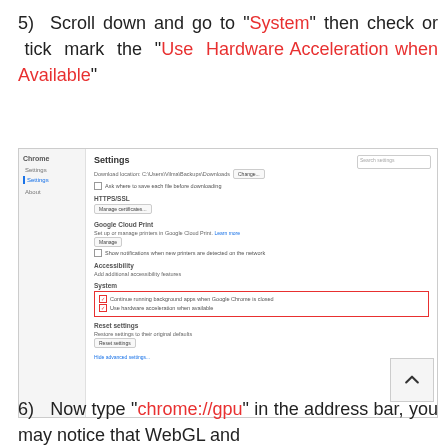5) Scroll down and go to "System" then check or tick mark the "Use Hardware Acceleration when Available"
[Figure (screenshot): Screenshot of Google Chrome Settings page showing the System section with checkboxes for 'Continue running background apps when Google Chrome is closed' and 'Use hardware acceleration when available', with a red border highlighting these options.]
6) Now type "chrome://gpu" in the address bar, you may notice that WebGL and